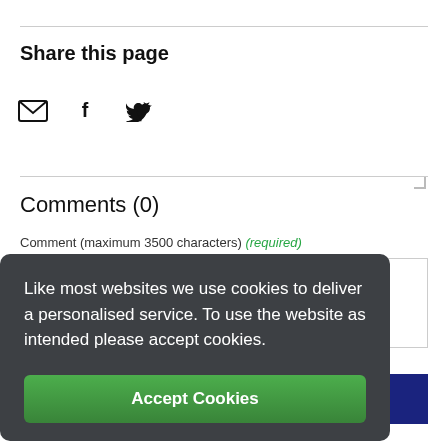Share this page
[Figure (illustration): Social sharing icons: envelope (email), Facebook (f), Twitter (bird)]
Comments (0)
Comment (maximum 3500 characters) (required)
Your comment
Add a picture
CLICK OR JUST DRAG AND DROP A PHOTO HERE
Like most websites we use cookies to deliver a personalised service. To use the website as intended please accept cookies.
Accept Cookies